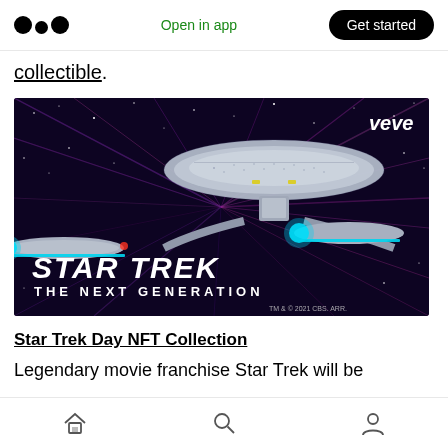Medium app header with logo, Open in app, Get started
collectible.
[Figure (photo): Star Trek: The Next Generation promotional image featuring the USS Enterprise spaceship against a purple space background with star streaks. VeVe logo in top right corner. STAR TREK THE NEXT GENERATION logo in lower left. TM & © 2021 CBS. ARR. text at bottom right.]
Star Trek Day NFT Collection
Legendary movie franchise Star Trek will be
Bottom navigation bar with home, search, and profile icons